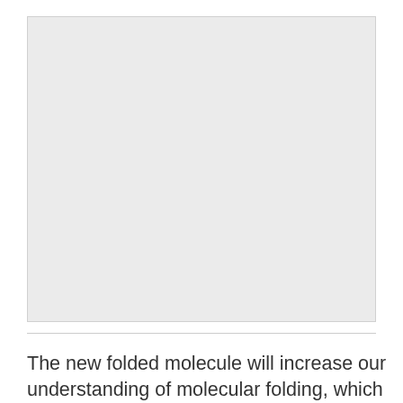[Figure (illustration): Large light gray rectangular image area, likely a figure or photograph related to molecular folding research.]
The new folded molecule will increase our understanding of molecular folding, which should stimulate rational molecular design. Whether the thiol-based polymers are as useful as catalysts (like proteins in nature) is not yet clear. ‘We know they can bind other molecules, but we are still trying to find out whether they can have catalytic properties, like enzymes.’ Folding is important to create